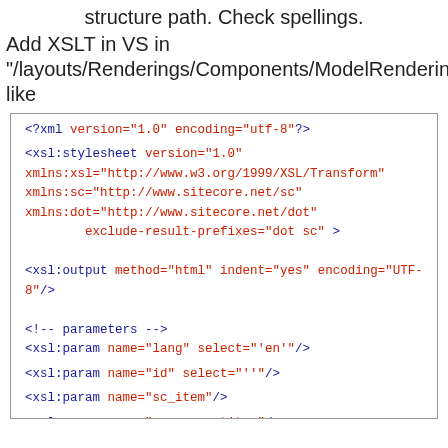structure path. Check spellings.
Add XSLT in VS in "/layouts/Renderings/Components/ModelRendering.xslt" like
[Figure (screenshot): Code block showing an XSLT file with XML declaration, xsl:stylesheet element with namespaces, xsl:output, parameters (lang, id, sc_item, sc_currentitem), and xsl:template match element.]